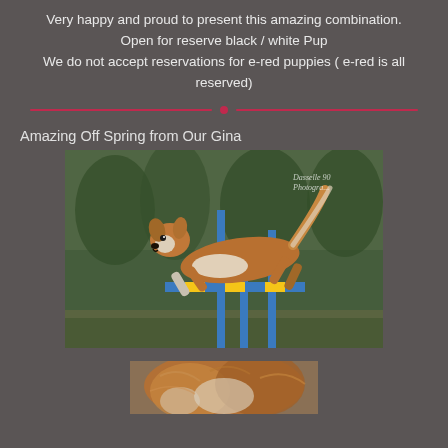Very happy and proud to present this amazing combination.
Open for reserve black / white Pup
We do not accept reservations for e-red puppies ( e-red is all reserved)
[Figure (illustration): Decorative pink/red curved line divider with a dot in the center]
Amazing Off Spring from Our Gina
[Figure (photo): A golden/red and white Border Collie dog jumping over an agility hurdle with blue poles, photographed outdoors. Watermark reads 'Dasselle 90 Photogr...' in top right corner.]
[Figure (photo): Partial photo of a fluffy orange/red and white dog, cropped at bottom of page.]